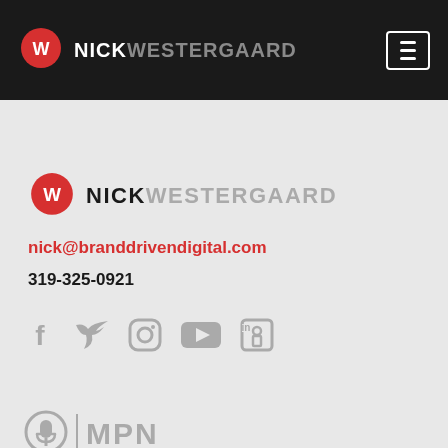NICK WESTERGAARD
[Figure (logo): Nick Westergaard logo with red speech bubble W icon and text NICK WESTERGAARD in white/grey on dark background]
[Figure (logo): Nick Westergaard logo with red speech bubble W icon and text NICK WESTERGAARD in dark/grey on light background]
nick@branddrivendigital.com
319-325-0921
[Figure (infographic): Social media icons row: Facebook, Twitter, Instagram, YouTube, LinkedIn — all in grey]
[Figure (logo): MPN logo with microphone icon and MPN text in grey]